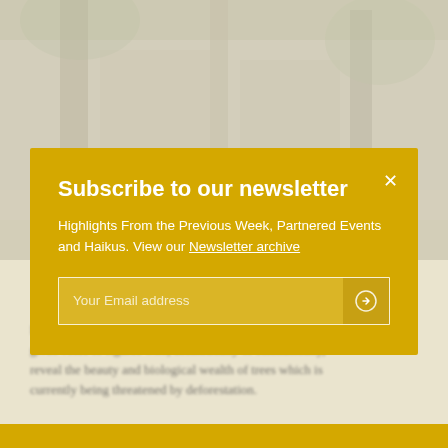[Figure (photo): Blurred background photo of a street scene with trees and buildings, warm sepia/beige tones]
Subscribe to our newsletter
Highlights From the Previous Week, Partnered Events and Haikus. View our Newsletter archive
Your Email address
Fondation Cartier pour l'art contemporain's latest exhibition gives voice to figures who, aesthetically or scientifically, reveal the beauty and biological wealth of trees which is currently being threatened by deforestation.